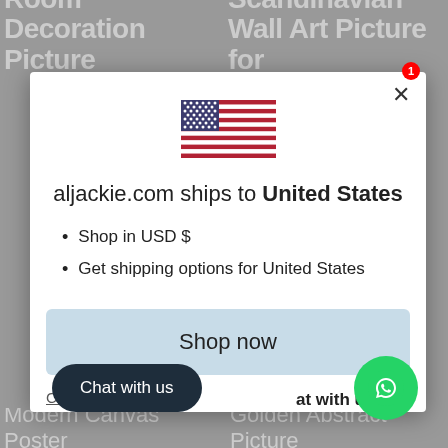Painting Nordic Living Room Decoration Picture | Prints Scandinavian Wall Art Picture for
[Figure (screenshot): Modal dialog on aljackie.com showing US flag, shipping region notice, list items for USD and US shipping, Shop now button, and Change shipping link]
aljackie.com ships to United States
Shop in USD $
Get shipping options for United States
Shop now
Change shipping
Chat with us
Modern Canvas Poster | Golden Abstract Picture